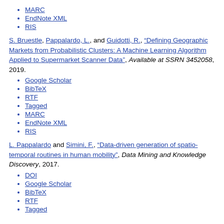MARC
EndNote XML
RIS
S. Bruestle, Pappalardo, L., and Guidotti, R., “Defining Geographic Markets from Probabilistic Clusters: A Machine Learning Algorithm Applied to Supermarket Scanner Data”, Available at SSRN 3452058, 2019.
Google Scholar
BibTeX
RTF
Tagged
MARC
EndNote XML
RIS
L. Pappalardo and Simini, F., “Data-driven generation of spatio-temporal routines in human mobility”, Data Mining and Knowledge Discovery, 2017.
DOI
Google Scholar
BibTeX
RTF
Tagged